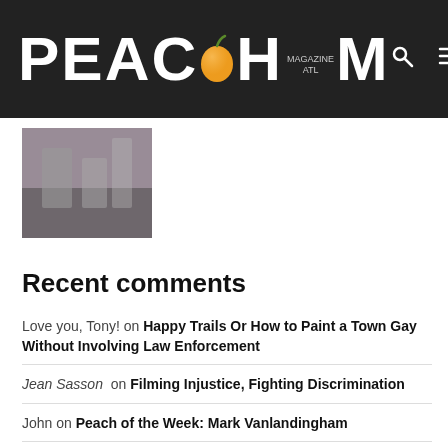PEACH MAGAZINE ATL
[Figure (photo): Small thumbnail image, partially visible, showing a dark urban/event scene]
Recent comments
Love you, Tony! on Happy Trails Or How to Paint a Town Gay Without Involving Law Enforcement
Jean Sasson on Filming Injustice, Fighting Discrimination
John on Peach of the Week: Mark Vanlandingham
Gerald on Read Our Latest Issue